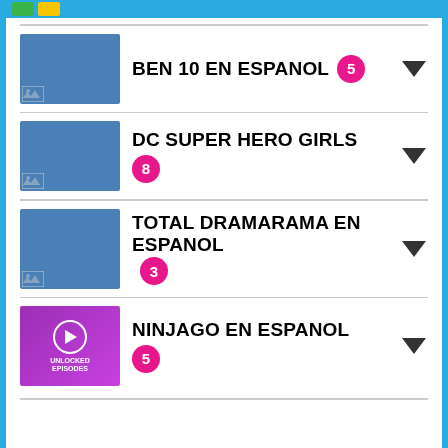BEN 10 EN ESPANOL 5
DC SUPER HERO GIRLS 8
TOTAL DRAMARAMA EN ESPANOL 3
NINJAGO EN ESPANOL 5